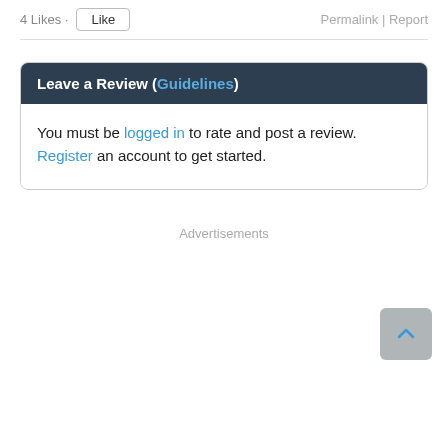4 Likes · Like   Permalink | Report
Leave a Review (Guidelines)
You must be logged in to rate and post a review. Register an account to get started.
Advertisements